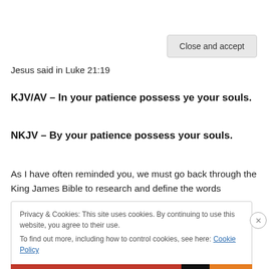Jesus said in Luke 21:19
KJV/AV – In your patience possess ye your souls.
NKJV – By your patience possess your souls.
As I have often reminded you, we must go back through the King James Bible to research and define the words
Privacy & Cookies: This site uses cookies. By continuing to use this website, you agree to their use.
To find out more, including how to control cookies, see here: Cookie Policy
Close and accept